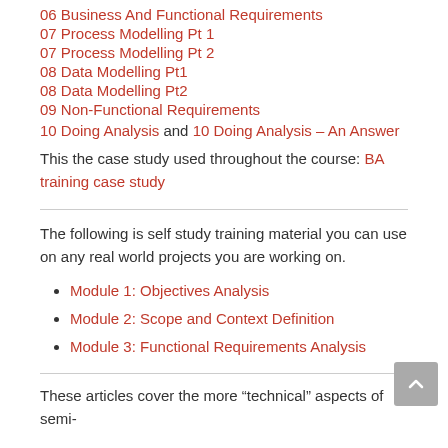06 Business And Functional Requirements
07 Process Modelling Pt 1
07 Process Modelling Pt 2
08 Data Modelling Pt1
08 Data Modelling Pt2
09 Non-Functional Requirements
10 Doing Analysis and 10 Doing Analysis – An Answer
This the case study used throughout the course: BA training case study
The following is self study training material you can use on any real world projects you are working on.
Module 1: Objectives Analysis
Module 2: Scope and Context Definition
Module 3: Functional Requirements Analysis
These articles cover the more “technical” aspects of semi-